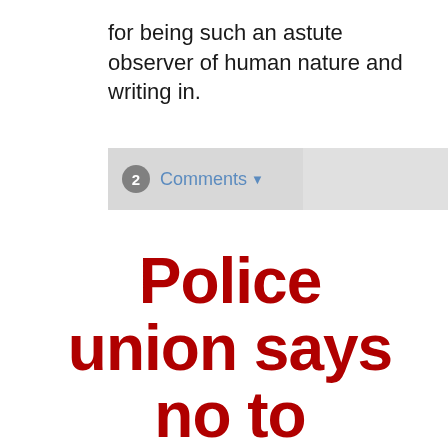for being such an astute observer of human nature and writing in.
[Figure (screenshot): A comments bar UI element showing '2 Comments' with a dropdown arrow, styled with a grey background split into two sections.]
Police union says no to Houston Judge